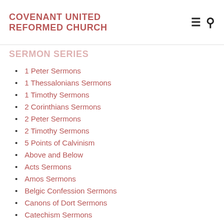COVENANT UNITED REFORMED CHURCH
Sermon Series
1 Peter Sermons
1 Thessalonians Sermons
1 Timothy Sermons
2 Corinthians Sermons
2 Peter Sermons
2 Timothy Sermons
5 Points of Calvinism
Above and Below
Acts Sermons
Amos Sermons
Belgic Confession Sermons
Canons of Dort Sermons
Catechism Sermons
Catechism Sermons 2005-2006
Catechism Sermons 2006-2007